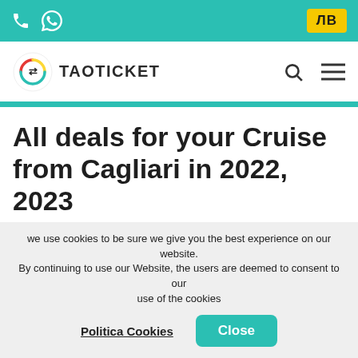TaoTicket website header with phone/whatsapp icons and LВ currency badge
[Figure (logo): TaoTicket logo: circular globe icon with arrows, text TAOTICKET, search icon, hamburger menu icon]
All deals for your Cruise from Cagliari in 2022, 2023
Pagination: < 1 2 3 4 >
we use cookies to be sure we give you the best experience on our website. By continuing to use our Website, the users are deemed to consent to our use of the cookies
Politica Cookies   Close